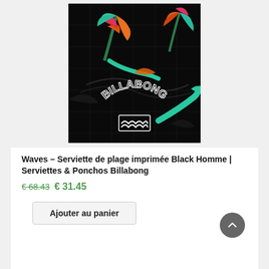[Figure (photo): Billabong beach towel with black background, tropical bird-of-paradise flowers in orange, red, pink, and teal, with a grid pattern overlay and the Billabong logo arched across the lower center.]
Waves – Serviette de plage imprimée Black Homme | Serviettes & Ponchos Billabong
€68.43 € 31.45
Ajouter au panier